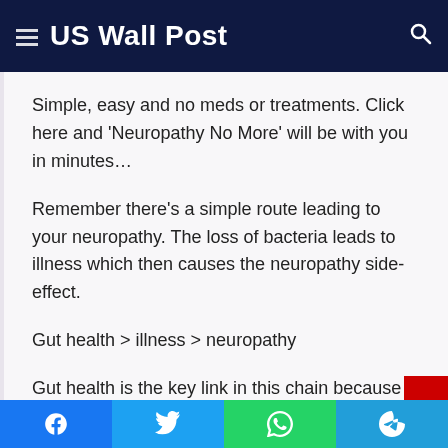US Wall Post
Simple, easy and no meds or treatments. Click here and 'Neuropathy No More' will be with you in minutes…
Remember there's a simple route leading to your neuropathy. The loss of bacteria leads to illness which then causes the neuropathy side-effect.
Gut health > illness > neuropathy
Gut health is the key link in this chain because it starts the whole thing off. Maintaining gut health treats all links of the chain.
Facebook Twitter WhatsApp Telegram